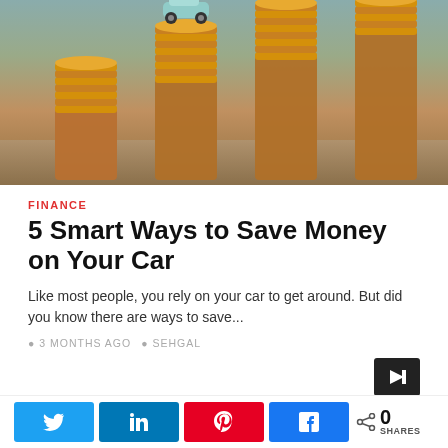[Figure (photo): Photo of four stacks of coins increasing in height from left to right with a small toy car balanced on the second stack, representing saving money on your car]
FINANCE
5 Smart Ways to Save Money on Your Car
Like most people, you rely on your car to get around. But did you know there are ways to save...
3 MONTHS AGO   SEHGAL